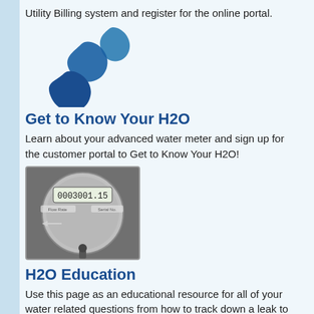Utility Billing system and register for the online portal.
[Figure (logo): Water droplets logo in blue]
Get to Know Your H2O
Learn about your advanced water meter and sign up for the customer portal to Get to Know Your H2O!
[Figure (photo): Close-up photo of a digital water meter showing reading]
H2O Education
Use this page as an educational resource for all of your water related questions from how to track down a leak to typical indoor water usage.
[Figure (photo): Photo with purple accessibility icon overlaid on a water-related image]